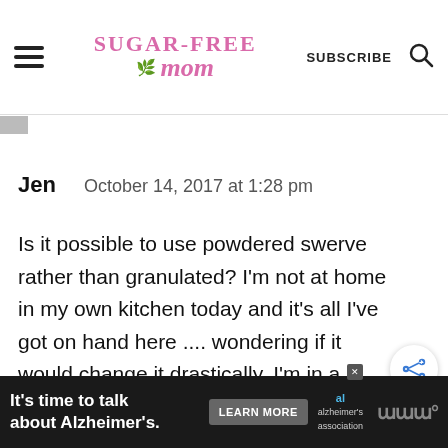Sugar-Free Mom | SUBSCRIBE
Jen    October 14, 2017 at 1:28 pm
Is it possible to use powdered swerve rather than granulated? I'm not at home in my own kitchen today and it's all I've got on hand here .... wondering if it would change it drastically. I'm in a small town today so no store availability
It's time to talk about Alzheimer's.  LEARN MORE